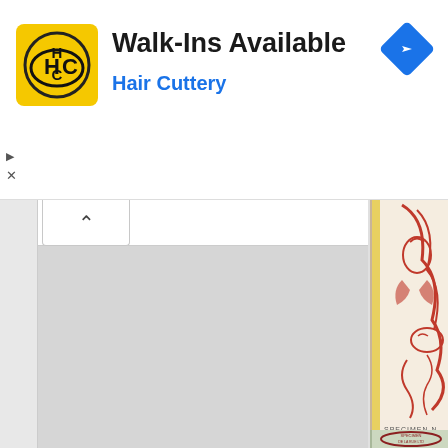[Figure (screenshot): Advertisement banner for Hair Cuttery showing yellow HC logo, 'Walk-Ins Available' title, 'Hair Cuttery' subtitle in blue, and a blue navigation diamond icon on the right. Small play and X controls at bottom left of the ad.]
[Figure (screenshot): Partial view of a webpage interface showing a collapsed/expanded panel with an up-arrow button, grey sidebar, and two partially visible specimen banknote or security document images on the right side. The top image shows a red ornate design with 'SPECIMEN N' text, and the bottom image shows a 'SPECIMEN DE LA RUE LTD NO VALUE' oval stamp on a green/teal background.]